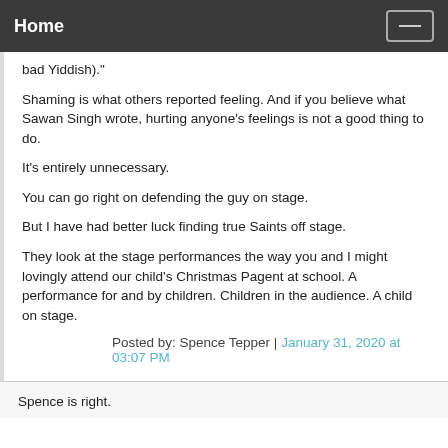Home
bad Yiddish)."
Shaming is what others reported feeling. And if you believe what Sawan Singh wrote, hurting anyone's feelings is not a good thing to do.
It's entirely unnecessary.
You can go right on defending the guy on stage.
But I have had better luck finding true Saints off stage.
They look at the stage performances the way you and I might lovingly attend our child's Christmas Pagent at school. A performance for and by children. Children in the audience. A child on stage.
Posted by: Spence Tepper | January 31, 2020 at 03:07 PM
Spence is right.